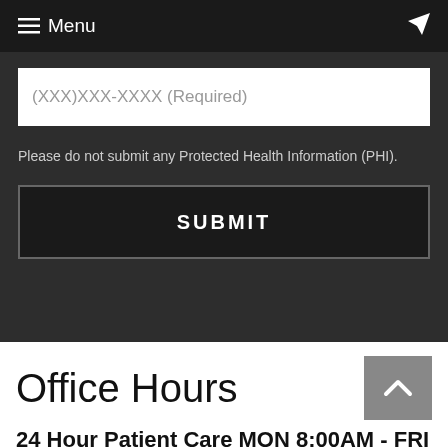Menu
(XXX)XXX-XXXX (Required)
Please do not submit any Protected Health Information (PHI).
SUBMIT
Office Hours
24 Hour Patient Care MON 8:00AM - FRI 6:00PM